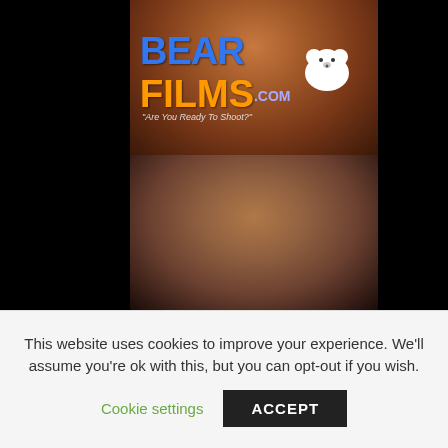[Figure (photo): Website screenshot showing adult content site BearFilms.com with logo overlay on top image and a man's face in bottom image, both with black bars on left and right sides]
This website uses cookies to improve your experience. We'll assume you're ok with this, but you can opt-out if you wish.
Cookie settings
ACCEPT